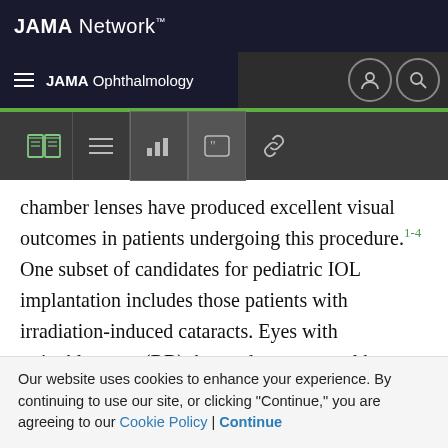JAMA Network™
JAMA Ophthalmology
chamber lenses have produced excellent visual outcomes in patients undergoing this procedure.1-4 One subset of candidates for pediatric IOL implantation includes those patients with irradiation-induced cataracts. Eyes with retinoblastoma (RB) that undergo external beam radiotherapy (EBRT) typically develop a cataract within a 1- to 3-year period.5 Thus, most eyes are still within the amblyogenic age range when a clear visual axis is crucial for normal visual development. A previous series6 has
Our website uses cookies to enhance your experience. By continuing to use our site, or clicking "Continue," you are agreeing to our Cookie Policy | Continue